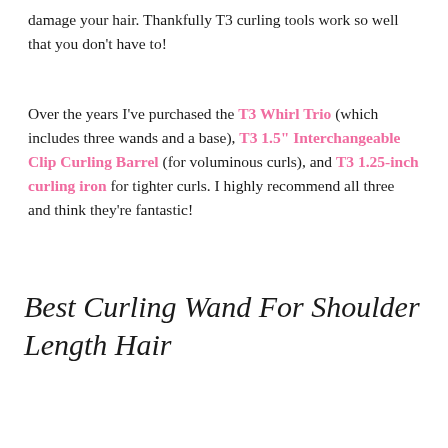damage your hair. Thankfully T3 curling tools work so well that you don't have to!
Over the years I've purchased the T3 Whirl Trio (which includes three wands and a base), T3 1.5" Interchangeable Clip Curling Barrel (for voluminous curls), and T3 1.25-inch curling iron for tighter curls. I highly recommend all three and think they're fantastic!
Best Curling Wand For Shoulder Length Hair